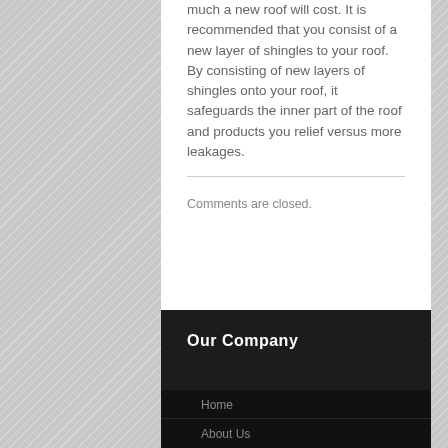much a new roof will cost. It is recommended that you consist of a new layer of shingles to your roof. By consisting of new layers of shingles onto your roof, it safeguards the inner part of the roof and products you relief versus more leakages.
Comments are closed.
Our Company
Home
About Us